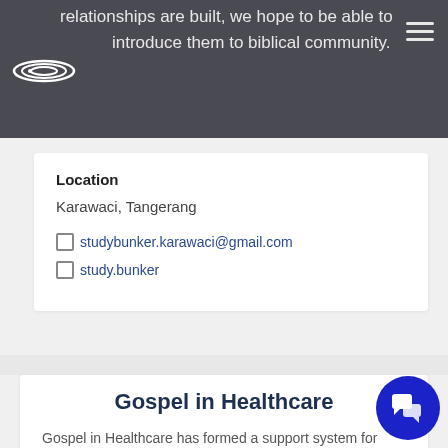relationships are built, we hope to be able to introduce them to biblical community.
Location
Karawaci, Tangerang
studybunker.karawaci@gmail.com
study.bunker
Gospel in Healthcare
Gospel in Healthcare has formed a support system for Christian healthcare workers. As a gospel community, we encourage one another through the physically and emotionally challenging work environment